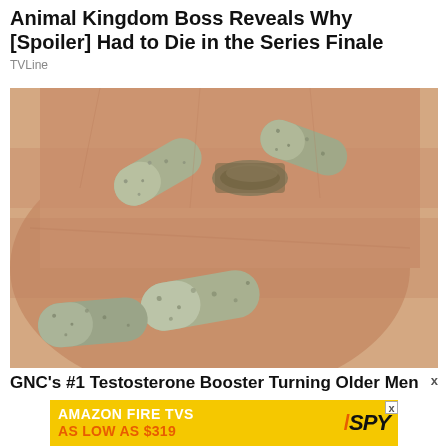Animal Kingdom Boss Reveals Why [Spoiler] Had to Die in the Series Finale
TVLine
[Figure (photo): Close-up photo of a hand with a ring holding three green/gray speckled capsule pills]
GNC's #1 Testosterone Booster Turning Older Men
[Figure (infographic): Amazon Fire TVs advertisement banner: 'AMAZON FIRE TVS AS LOW AS $319' with SPY logo on yellow background]